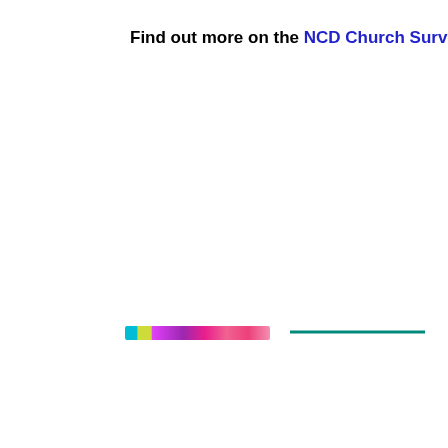Find out more on the NCD Church Survey
[Figure (other): A horizontal multicolored gradient bar (cyan, yellow, purple, pink) positioned in the lower-center area, and a solid teal horizontal line to its right.]